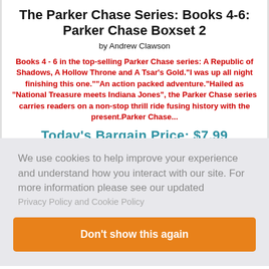The Parker Chase Series: Books 4-6: Parker Chase Boxset 2
by Andrew Clawson
Books 4 - 6 in the top-selling Parker Chase series: A Republic of Shadows, A Hollow Throne and A Tsar's Gold."I was up all night finishing this one.""An action packed adventure."Hailed as "National Treasure meets Indiana Jones", the Parker Chase series carries readers on a non-stop thrill ride fusing history with the present.Parker Chase...
Today's Bargain Price: $7.99
We use cookies to help improve your experience and understand how you interact with our site. For more information please see our updated
Privacy Policy and Cookie Policy
Don't show this again